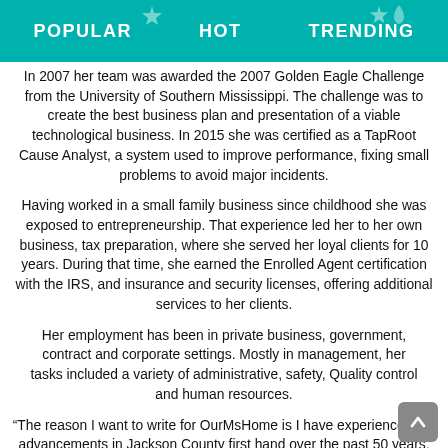POPULAR   HOT   TRENDING
In 2007 her team was awarded the 2007 Golden Eagle Challenge from the University of Southern Mississippi. The challenge was to create the best business plan and presentation of a viable technological business. In 2015 she was certified as a TapRoot Cause Analyst, a system used to improve performance, fixing small problems to avoid major incidents.
Having worked in a small family business since childhood she was exposed to entrepreneurship. That experience led her to her own business, tax preparation, where she served her loyal clients for 10 years. During that time, she earned the Enrolled Agent certification with the IRS, and insurance and security licenses, offering additional services to her clients.
Her employment has been in private business, government, contract and corporate settings. Mostly in management, her tasks included a variety of administrative, safety, Quality control and human resources.
“The reason I want to write for OurMsHome is I have experienced the advancements in Jackson County first hand over the past 50 years, and I feel that the county has made enormous progress. We need to ‘toot our horn’ and let the world know about our rich history and abundant natural resources.”